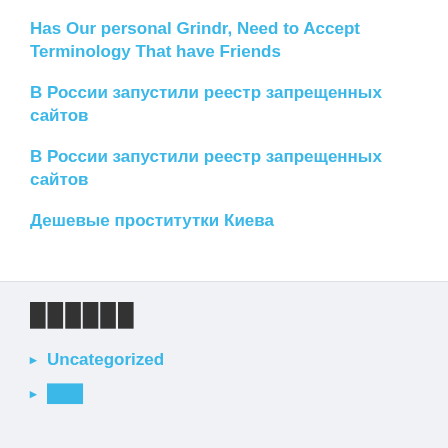Has Our personal Grindr, Need to Accept Terminology That have Friends
В России запустили реестр запрещенных сайтов
В России запустили реестр запрещенных сайтов
Дешевые проститутки Киева
██████
◉ Uncategorized
◉ ███